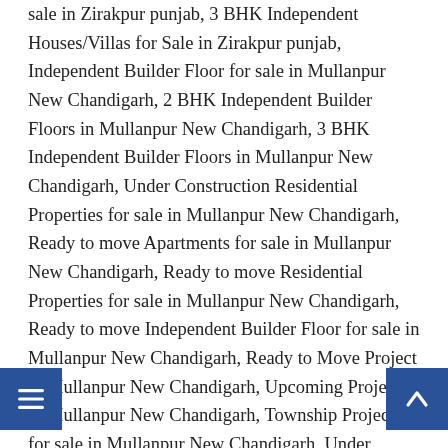sale in Zirakpur punjab, 3 BHK Independent Houses/Villas for Sale in Zirakpur punjab, Independent Builder Floor for sale in Mullanpur New Chandigarh, 2 BHK Independent Builder Floors in Mullanpur New Chandigarh, 3 BHK Independent Builder Floors in Mullanpur New Chandigarh, Under Construction Residential Properties for sale in Mullanpur New Chandigarh, Ready to move Apartments for sale in Mullanpur New Chandigarh, Ready to move Residential Properties for sale in Mullanpur New Chandigarh, Ready to move Independent Builder Floor for sale in Mullanpur New Chandigarh, Ready to Move Project in Mullanpur New Chandigarh, Upcoming Projects in Mullanpur New Chandigarh, Township Projects for sale in Mullanpur New Chandigarh, Under Construction Projects in Mullanpur New Chandigarh,